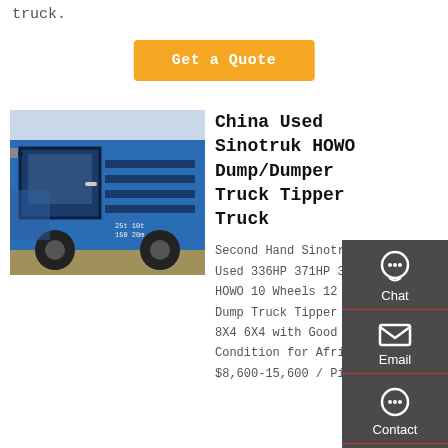truck.
[Figure (other): Orange 'Get a Quote' button]
[Figure (photo): Blue Sinotruk HOWO dump truck with open cab door]
China Used Sinotruk HOWO Dump/Dumper Truck Tipper Truck
Second Hand Sinotruk Used 336HP 371HP 375HP HOWO 10 Wheels 12 Tyres Dump Truck Tipper Truck 8X4 6X4 with Good Condition for Africa US $8,600-15,600 / Piece